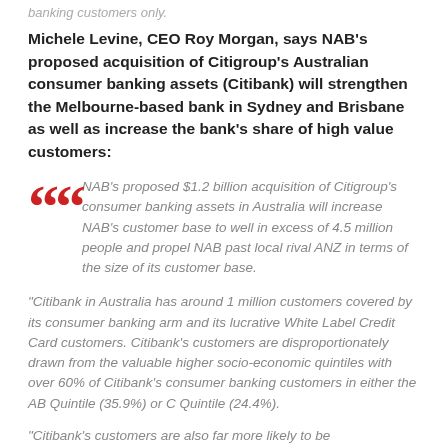banking customers only.
Michele Levine, CEO Roy Morgan, says NAB's proposed acquisition of Citigroup's Australian consumer banking assets (Citibank) will strengthen the Melbourne-based bank in Sydney and Brisbane as well as increase the bank's share of high value customers:
NAB's proposed $1.2 billion acquisition of Citigroup's consumer banking assets in Australia will increase NAB's customer base to well in excess of 4.5 million people and propel NAB past local rival ANZ in terms of the size of its customer base.
“Citibank in Australia has around 1 million customers covered by its consumer banking arm and its lucrative White Label Credit Card customers. Citibank’s customers are disproportionately drawn from the valuable higher socio-economic quintiles with over 60% of Citibank’s consumer banking customers in either the AB Quintile (35.9%) or C Quintile (24.4%).
“Citibank’s customers are also far more likely to be